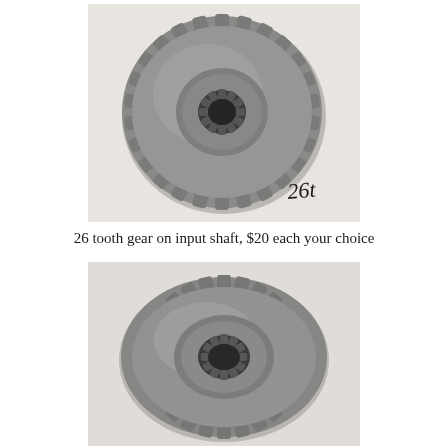[Figure (photo): Top-view photograph of a metal 26-tooth gear on a white cloth background. The gear has splined inner hole and visible teeth around the perimeter. Handwritten '26t' visible in bottom right corner of the photo.]
26 tooth gear on input shaft, $20 each your choice
[Figure (photo): Close-up photograph of a metal 26-tooth gear on a white cloth background, viewed slightly from the side showing the gear teeth and splined center bore.]